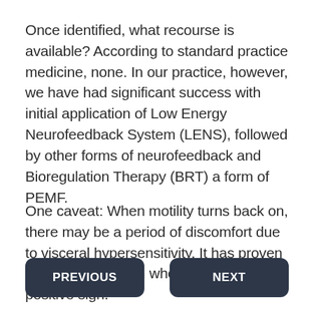Once identified, what recourse is available? According to standard practice medicine, none. In our practice, however, we have had significant success with initial application of Low Energy Neurofeedback System (LENS), followed by other forms of neurofeedback and Bioregulation Therapy (BRT) a form of PEMF.
One caveat: When motility turns back on, there may be a period of discomfort due to visceral hypersensitivity. It has proven easier to cope with when framed as a positive sign.
PREVIOUS
NEXT